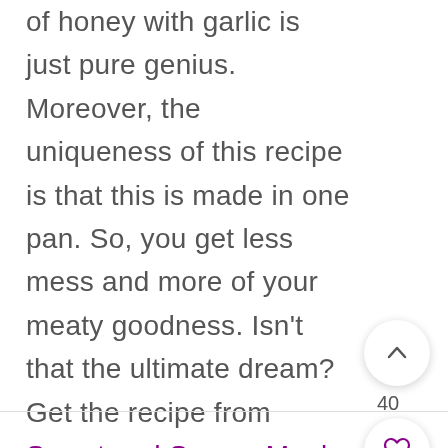of honey with garlic is just pure genius. Moreover, the uniqueness of this recipe is that this is made in one pan. So, you get less mess and more of your meaty goodness. Isn't that the ultimate dream? Get the recipe from Sweet and Savory Meals
[Figure (other): UI buttons: scroll-up arrow button with count 40, heart/favorite button, and purple search button]